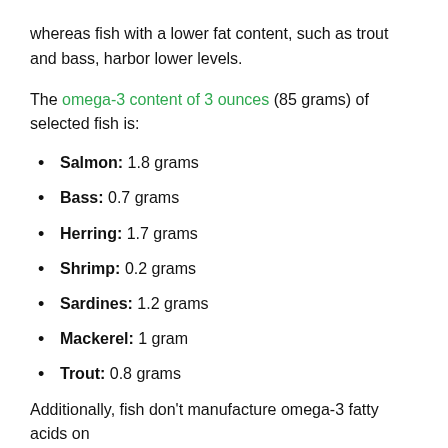whereas fish with a lower fat content, such as trout and bass, harbor lower levels.
The omega-3 content of 3 ounces (85 grams) of selected fish is:
Salmon: 1.8 grams
Bass: 0.7 grams
Herring: 1.7 grams
Shrimp: 0.2 grams
Sardines: 1.2 grams
Mackerel: 1 gram
Trout: 0.8 grams
Additionally, fish don't manufacture omega-3 fatty acids on